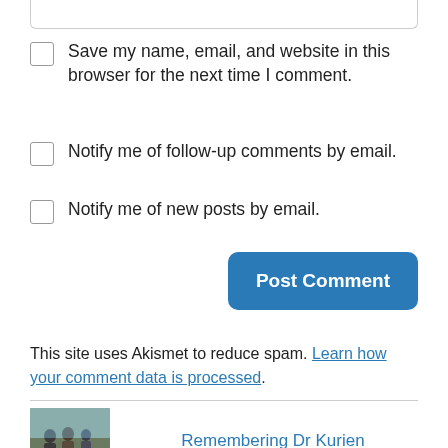Save my name, email, and website in this browser for the next time I comment.
Notify me of follow-up comments by email.
Notify me of new posts by email.
Post Comment
This site uses Akismet to reduce spam. Learn how your comment data is processed.
[Figure (photo): Thumbnail photo showing a group of people outdoors]
Remembering Dr Kurien